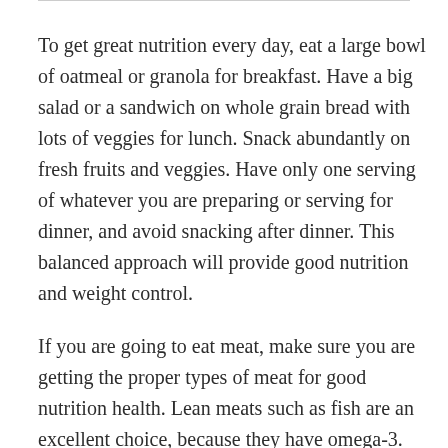To get great nutrition every day, eat a large bowl of oatmeal or granola for breakfast. Have a big salad or a sandwich on whole grain bread with lots of veggies for lunch. Snack abundantly on fresh fruits and veggies. Have only one serving of whatever you are preparing or serving for dinner, and avoid snacking after dinner. This balanced approach will provide good nutrition and weight control.
If you are going to eat meat, make sure you are getting the proper types of meat for good nutrition health. Lean meats such as fish are an excellent choice, because they have omega-3. You